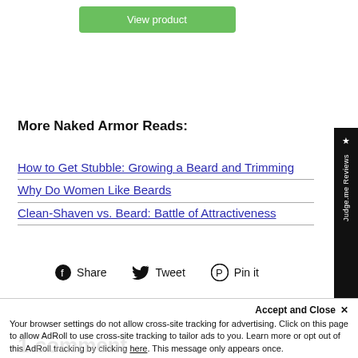[Figure (other): Green 'View product' button]
More Naked Armor Reads:
How to Get Stubble: Growing a Beard and Trimming
Why Do Women Like Beards
Clean-Shaven vs. Beard: Battle of Attractiveness
Share  Tweet  Pin it
Accept and Close ✕
Your browser settings do not allow cross-site tracking for advertising. Click on this page to allow AdRoll to use cross-site tracking to tailor ads to you. Learn more or opt out of this AdRoll tracking by clicking here. This message only appears once.
1 comment